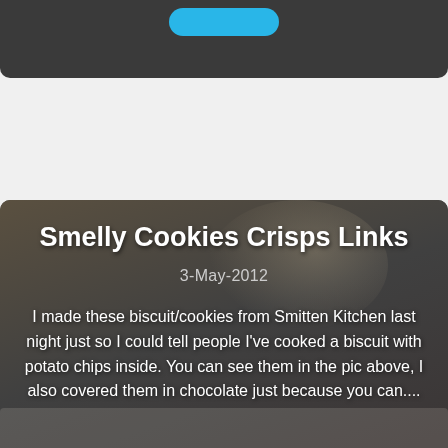[Figure (photo): Top portion of a blog card with dark background, partially visible blue button at top]
[Figure (photo): Blog post card with background photo of a bowl of ice cream/dessert and illustrated drawings. Contains overlaid text with post title, date, excerpt, and a Read More button.]
Smelly Cookies Crisps Links
3-May-2012
I made these biscuit/cookies from Smitten Kitchen last night just so I could tell people I've cooked a biscuit with potato chips inside. You can see them in the pic above, I also covered them in chocolate just because you can....